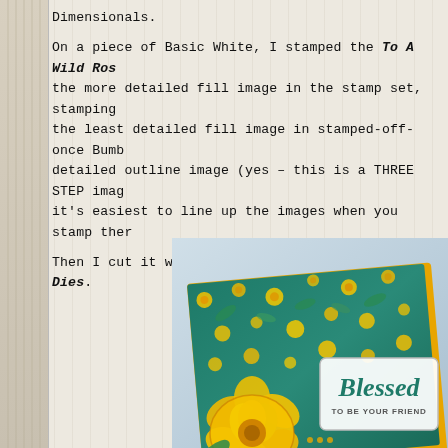Dimensionals.

On a piece of Basic White, I stamped the To A Wild Rose the more detailed fill image in the stamp set, stamping the least detailed fill image in stamped-off-once Bumb detailed outline image (yes – this is a THREE STEP imag it's easiest to line up the images when you stamp ther

Then I cut it with the die in the Wild Rose Dies.
[Figure (photo): A handmade greeting card with a teal background featuring yellow wild rose flowers pattern. A large yellow rose is in the foreground on the left side. A white label in the center-right reads 'Blessed TO BE YOUR FRIEND' in teal script and small bold text. The card has a yellow/orange border and is photographed at an angle against a gray-blue background.]